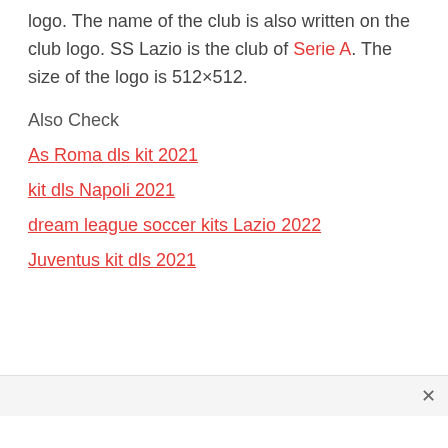logo. The name of the club is also written on the club logo. SS Lazio is the club of Serie A. The size of the logo is 512×512.
Also Check
As Roma dls kit 2021
kit dls Napoli 2021
dream league soccer kits Lazio 2022
Juventus kit dls 2021